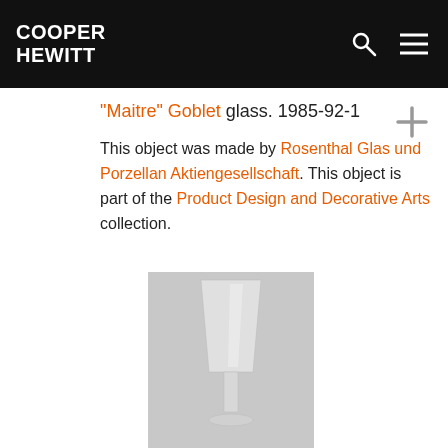COOPER HEWITT
"Maitre" Goblet glass. 1985-92-1
This object was made by Rosenthal Glas und Porzellan Aktiengesellschaft. This object is part of the Product Design and Decorative Arts collection.
[Figure (photo): Photograph of a tall clear glass goblet against a light gray background]